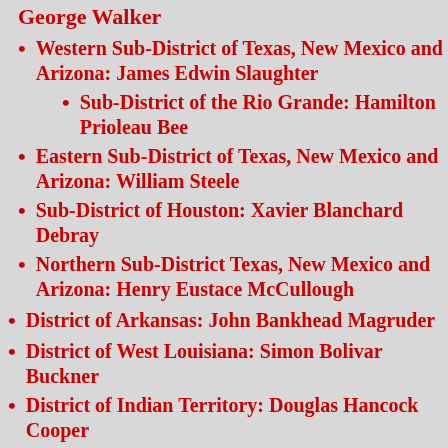George Walker
Western Sub-District of Texas, New Mexico and Arizona: James Edwin Slaughter
Sub-District of the Rio Grande: Hamilton Prioleau Bee
Eastern Sub-District of Texas, New Mexico and Arizona: William Steele
Sub-District of Houston: Xavier Blanchard Debray
Northern Sub-District Texas, New Mexico and Arizona: Henry Eustace McCullough
District of Arkansas: John Bankhead Magruder
District of West Louisiana: Simon Bolivar Buckner
District of Indian Territory: Douglas Hancock Cooper